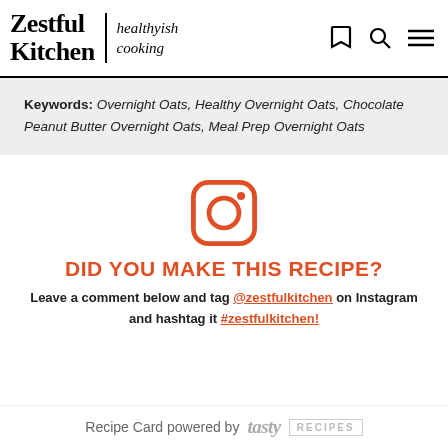Zestful Kitchen | healthyish cooking
Keywords: Overnight Oats, Healthy Overnight Oats, Chocolate Peanut Butter Overnight Oats, Meal Prep Overnight Oats
[Figure (illustration): Instagram logo icon in orange/coral color — rounded square with circle and dot]
DID YOU MAKE THIS RECIPE?
Leave a comment below and tag @zestfulkitchen on Instagram and hashtag it #zestfulkitchen!
Recipe Card powered by tasty RECIPES